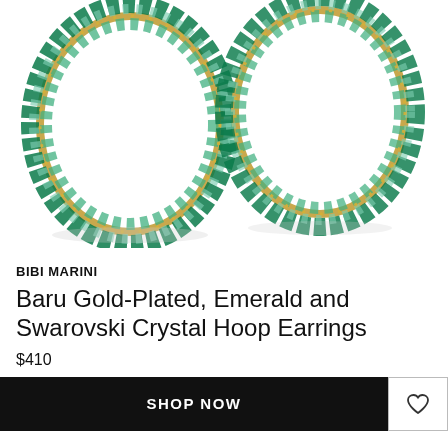[Figure (photo): Two large hoop earrings covered in clusters of green emerald and teal Swarovski crystal beads with gold-plated accents, displayed on a white background.]
BIBI MARINI
Baru Gold-Plated, Emerald and Swarovski Crystal Hoop Earrings
$410
SHOP NOW